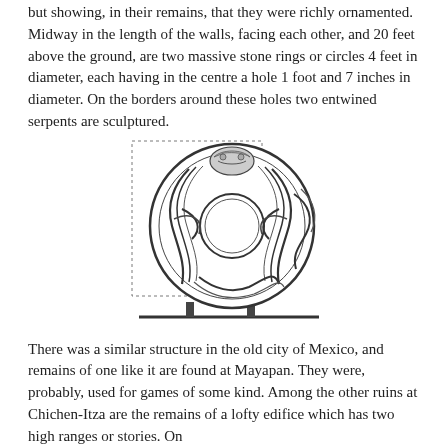but showing, in their remains, that they were richly ornamented. Midway in the length of the walls, facing each other, and 20 feet above the ground, are two massive stone rings or circles 4 feet in diameter, each having in the centre a hole 1 foot and 7 inches in diameter. On the borders around these holes two entwined serpents are sculptured.
[Figure (illustration): A detailed line drawing of a large circular stone ring with two entwined serpents carved in relief on its face, centered within a square dotted border. The ring has a circular hole in the center. The disk rests on a horizontal base or ground line with two small support posts visible beneath it.]
There was a similar structure in the old city of Mexico, and remains of one like it are found at Mayapan. They were, probably, used for games of some kind. Among the other ruins at Chichen-Itza are the remains of a lofty edifice which has two high ranges or stories. On